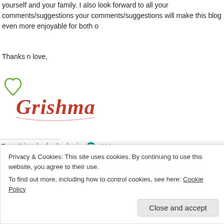yourself and your family. I also look forward to all your comments/suggestions your comments/suggestions will make this blog even more enjoyable for both of
Thanks n love,
[Figure (illustration): Signature reading 'Grishma' in red cursive script with a green heart doodle]
Rate this: ★★★★☆ ⓘ 4 Votes
Share this:
🖨 Print & PDF  ✉ Email  f Facebook  Twitter  Pinterest
★ Like
Privacy & Cookies: This site uses cookies. By continuing to use this website, you agree to their use.
To find out more, including how to control cookies, see here: Cookie Policy
Close and accept